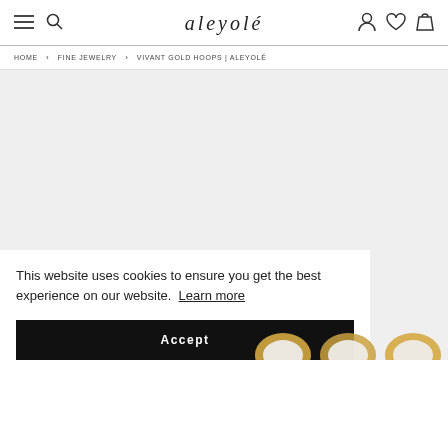aleyolé — navigation header with menu, search, account, wishlist, bag icons
HOME > FINE JEWELRY > VIVANT GOLD HOOPS | ALEYOLÉ
[Figure (photo): Light gray background product area for Vivant Gold Hoops, partially showing gold hoop earrings at the bottom]
This website uses cookies to ensure you get the best experience on our website. Learn more
Accept